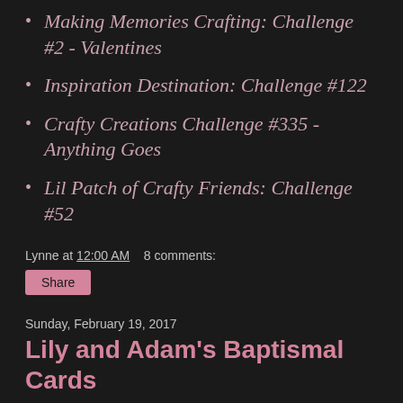Making Memories Crafting: Challenge #2 - Valentines
Inspiration Destination: Challenge #122
Crafty Creations Challenge #335 - Anything Goes
Lil Patch of Crafty Friends: Challenge #52
Lynne at 12:00 AM   8 comments:
Share
Sunday, February 19, 2017
Lily and Adam's Baptismal Cards
Very blessed grandma today as 2 of my grandchildren are being baptized, Lily and Adam. It's quite difficult to find a card let alone make a card for an older child to be baptized as compared to a newborn but using Tilda with Cross and